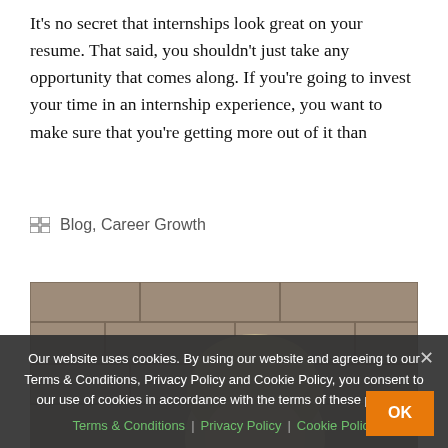It's no secret that internships look great on your resume. That said, you shouldn't just take any opportunity that comes along. If you're going to invest your time in an internship experience, you want to make sure that you're getting more out of it than
Blog, Career Growth
[Figure (photo): Partial photo showing a person's head with light-colored hair against a stone/brick wall background, partially obscured by cookie consent banner.]
Our website uses cookies. By using our website and agreeing to our Terms & Conditions, Privacy Policy and Cookie Policy, you consent to our use of cookies in accordance with the terms of these policies.
Terms & Conditions | Privacy Policy | Cookie Policy